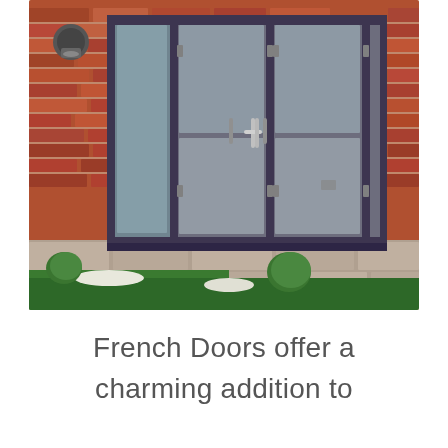[Figure (photo): Photograph of dark grey/anthracite uPVC or aluminium French doors with side panels installed in a red brick wall. The doors have large glass panes, chrome handles, and are set on a paved patio with green shrubs and lawn in the foreground.]
French Doors offer a charming addition to